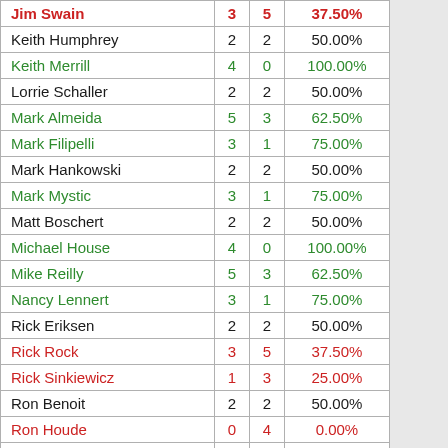| Name | W | L | Pct |
| --- | --- | --- | --- |
| Jim Swain | 3 | 5 | 37.50% |
| Keith Humphrey | 2 | 2 | 50.00% |
| Keith Merrill | 4 | 0 | 100.00% |
| Lorrie Schaller | 2 | 2 | 50.00% |
| Mark Almeida | 5 | 3 | 62.50% |
| Mark Filipelli | 3 | 1 | 75.00% |
| Mark Hankowski | 2 | 2 | 50.00% |
| Mark Mystic | 3 | 1 | 75.00% |
| Matt Boschert | 2 | 2 | 50.00% |
| Michael House | 4 | 0 | 100.00% |
| Mike Reilly | 5 | 3 | 62.50% |
| Nancy Lennert | 3 | 1 | 75.00% |
| Rick Eriksen | 2 | 2 | 50.00% |
| Rick Rock | 3 | 5 | 37.50% |
| Rick Sinkiewicz | 1 | 3 | 25.00% |
| Ron Benoit | 2 | 2 | 50.00% |
| Ron Houde | 0 | 4 | 0.00% |
| Sarah Perrott | 3 | 1 | 75.00% |
| Scott Wilson | 1 | 3 | 25.00% |
| Ted Trautman | 2 | 2 | 50.00% |
| Tom Coltart | 1 | 7 | 12.50% |